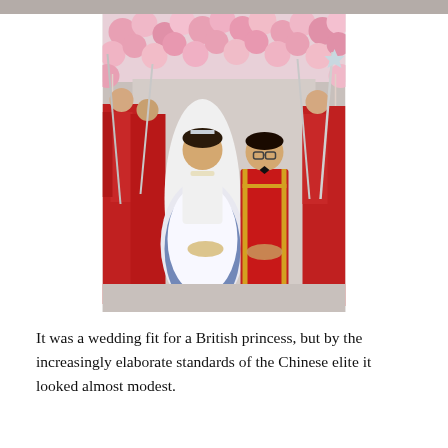[Figure (photo): A couple at an elaborate wedding ceremony. The bride wears a white and blue ball gown with ornate decorations, and the groom wears a red ceremonial military-style jacket with gold trim. They are surrounded by attendants in red uniforms holding swords, walking under an arch of pink and white balloons.]
It was a wedding fit for a British princess, but by the increasingly elaborate standards of the Chinese elite it looked almost modest.